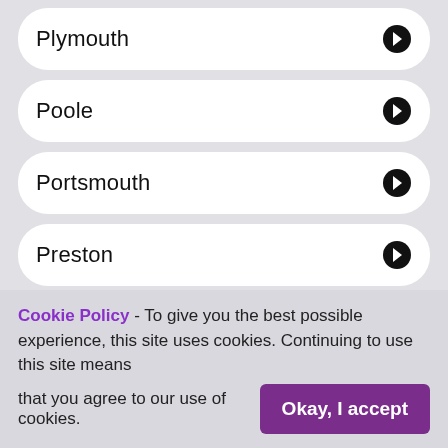Plymouth
Poole
Portsmouth
Preston
Reading
Sheffield
Cookie Policy - To give you the best possible experience, this site uses cookies. Continuing to use this site means that you agree to our use of cookies. Okay, I accept